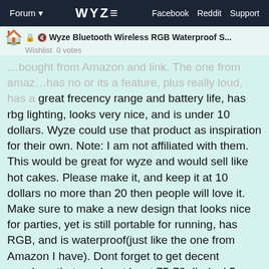Forum  WYZE  Facebook  Reddit  Support
🔒 🔇 Wyze Bluetooth Wireless RGB Waterproof S... Wishlist  0 votes
great frecency range and battery life, has rbg lighting, looks very nice, and is under 10 dollars. Wyze could use that product as inspiration for their own. Note: I am not affiliated with them. This would be great for wyze and would sell like hot cakes. Please make it, and keep it at 10 dollars no more than 20 then people will love it. Make sure to make a new design that looks nice for parties, yet is still portable for running, has RGB, and is waterproof(just like the one from Amazon I have). Dont forget to get decent speakers that can be at least 75-70 db dual 5 watt. The speaker I have also has a decent frequency range and tf card aux input. Note the price has raised but using keepa or camelcamelcamel price tracker for amaazon you can see it was 10 dollars for a long time.
https://www.amazon.com/gp/product/BO88D2NJLT/ref=ppx_yo_dt_b_asin_title_oO1_sO1?ie=UTF8&psc=1
I hope Wyze can make this idea. Im sure it
1 / 4